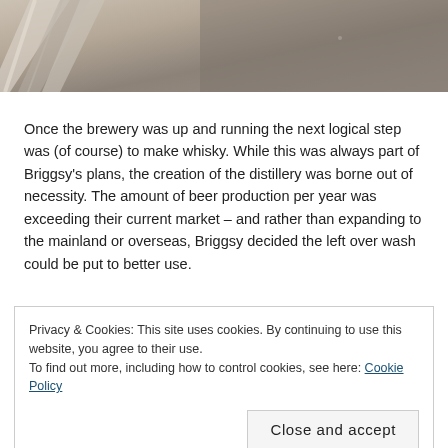[Figure (photo): Partial view of a grey concrete or industrial surface, likely part of a building or structure, photographed from above or at an angle.]
Once the brewery was up and running the next logical step was (of course) to make whisky. While this was always part of Briggsy’s plans, the creation of the distillery was borne out of necessity. The amount of beer production per year was exceeding their current market – and rather than expanding to the mainland or overseas, Briggsy decided the left over wash could be put to better use.
Privacy & Cookies: This site uses cookies. By continuing to use this website, you agree to their use.
To find out more, including how to control cookies, see here: Cookie Policy
Close and accept